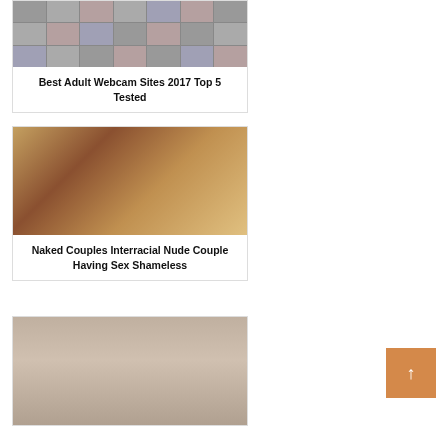[Figure (photo): Grid of adult webcam site thumbnails]
Best Adult Webcam Sites 2017 Top 5 Tested
[Figure (photo): Interracial nude couple photo]
Naked Couples Interracial Nude Couple Having Sex Shameless
[Figure (photo): Partial body photo]